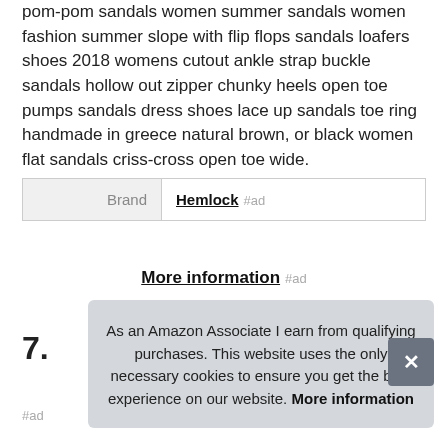pom-pom sandals women summer sandals women fashion summer slope with flip flops sandals loafers shoes 2018 womens cutout ankle strap buckle sandals hollow out zipper chunky heels open toe pumps sandals dress shoes lace up sandals toe ring handmade in greece natural brown, or black women flat sandals criss-cross open toe wide.
| Brand |  |
| --- | --- |
| Brand | Hemlock #ad |
More information #ad
7.
#ad
As an Amazon Associate I earn from qualifying purchases. This website uses the only necessary cookies to ensure you get the best experience on our website. More information